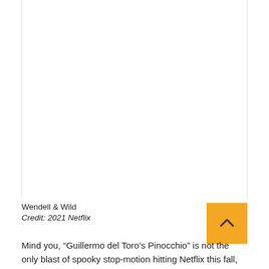[Figure (photo): Large image placeholder area (white) representing a movie still from Wendell & Wild]
Wendell & Wild
Credit: 2021 Netflix
Mind you, “Guillermo del Toro’s Pinocchio” is not the only blast of spooky stop-motion hitting Netflix this fall, as the